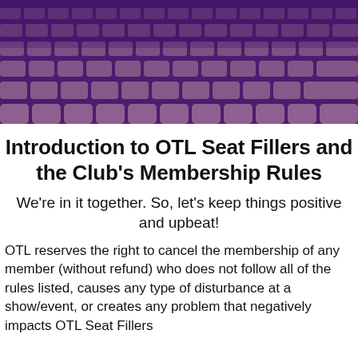[Figure (photo): A photo of rows of theater/auditorium seats with a purple/violet color overlay tint, viewed from the front at a slight angle.]
Introduction to OTL Seat Fillers and the Club's Membership Rules
We're in it together. So, let's keep things positive and upbeat!
OTL reserves the right to cancel the membership of any member (without refund) who does not follow all of the rules listed, causes any type of disturbance at a show/event, or creates any problem that negatively impacts OTL Seat Fillers